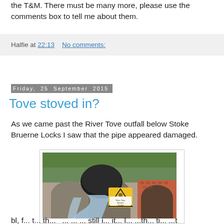the T&M. There must be many more, please use the comments box to tell me about them.
Halfie at 22:13    No comments:
Friday, 25 September 2015
Tove stoved in?
As we came past the River Tove outfall below Stoke Bruerne Locks I saw that the pipe appeared damaged.
[Figure (photo): Photo of a large black pipe/outfall below a stone and brick bridge with water flowing around it and a yellow warning sign reading 'River Tove Beware Outfall']
bl, f... t... th... ... ... ... still i... it... l... ...th... ti... ...t